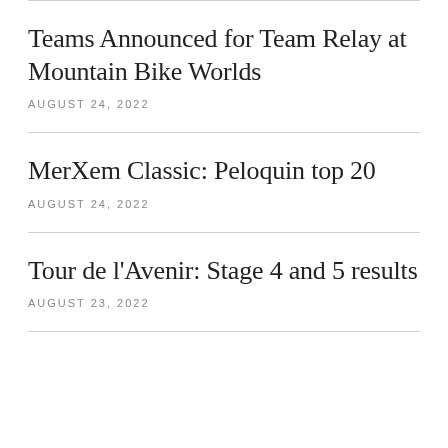Teams Announced for Team Relay at Mountain Bike Worlds
AUGUST 24, 2022
MerXem Classic: Peloquin top 20
AUGUST 24, 2022
Tour de l'Avenir: Stage 4 and 5 results
AUGUST 23, 2022